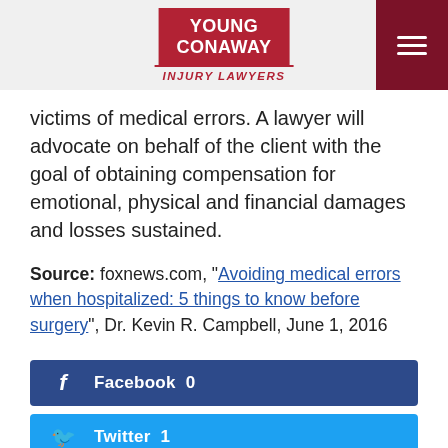YOUNG CONAWAY INJURY LAWYERS
victims of medical errors. A lawyer will advocate on behalf of the client with the goal of obtaining compensation for emotional, physical and financial damages and losses sustained.
Source: foxnews.com, "Avoiding medical errors when hospitalized: 5 things to know before surgery", Dr. Kevin R. Campbell, June 1, 2016
[Figure (other): Facebook share button with count 0]
[Figure (other): Twitter share button with count 1]